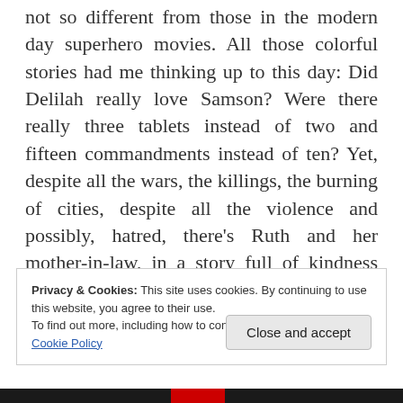not so different from those in the modern day superhero movies. All those colorful stories had me thinking up to this day: Did Delilah really love Samson? Were there really three tablets instead of two and fifteen commandments instead of ten? Yet, despite all the wars, the killings, the burning of cities, despite all the violence and possibly, hatred, there's Ruth and her mother-in-law, in a story full of kindness and compassion.
Privacy & Cookies: This site uses cookies. By continuing to use this website, you agree to their use.
To find out more, including how to control cookies, see here:
Cookie Policy
[Figure (photo): Dark image partially visible at the bottom of the page with a red element visible]